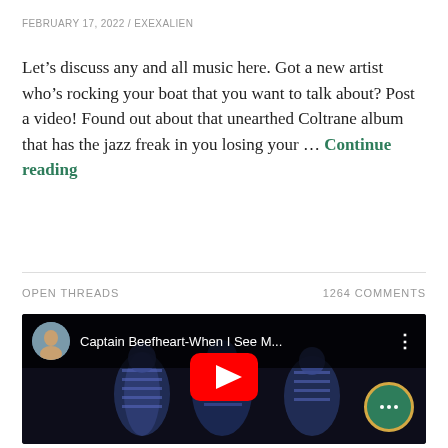FEBRUARY 17, 2022 / EXEXALIEN
Let’s discuss any and all music here. Got a new artist who’s rocking your boat that you want to talk about? Post a video! Found out about that unearthed Coltrane album that has the jazz freak in you losing your … Continue reading
OPEN THREADS    1264 COMMENTS
[Figure (screenshot): YouTube video embed showing Captain Beefheart-When I See M... with a dark video thumbnail featuring figures in striped costumes, a red YouTube play button overlay, and a green chat bubble icon in the lower right corner.]